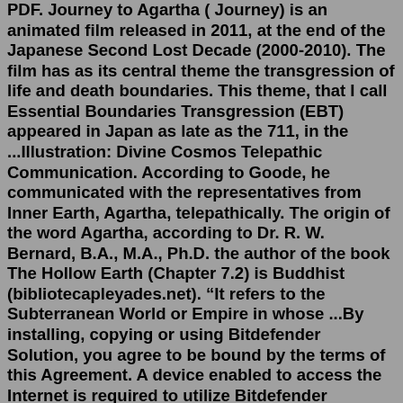PDF. Journey to Agartha ( Journey) is an animated film released in 2011, at the end of the Japanese Second Lost Decade (2000-2010). The film has as its central theme the transgression of life and death boundaries. This theme, that I call Essential Boundaries Transgression (EBT) appeared in Japan as late as the 711, in the ...Illustration: Divine Cosmos Telepathic Communication. According to Goode, he communicated with the representatives from Inner Earth, Agartha, telepathically. The origin of the word Agartha, according to Dr. R. W. Bernard, B.A., M.A., Ph.D. the author of the book The Hollow Earth (Chapter 7.2) is Buddhist (bibliotecapleyades.net). "It refers to the Subterranean World or Empire in whose ...By installing, copying or using Bitdefender Solution, you agree to be bound by the terms of this Agreement. A device enabled to access the Internet is required to utilize Bitdefender Solution. You are solely responsible for ensuring that your device is sufficient and compatible for use with Bitdefender Solution. May 19, 2011 · But the actors are just